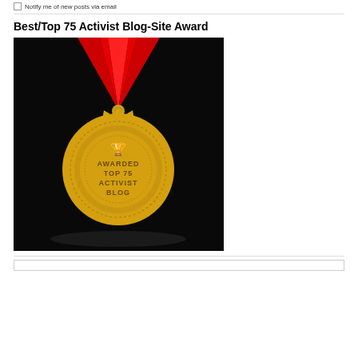Notify me of new posts via email
Best/Top 75 Activist Blog-Site Award
[Figure (photo): Gold medal with red ribbon on dark background, inscribed with AWARDED TOP 75 ACTIVIST BLOG and a trophy icon]